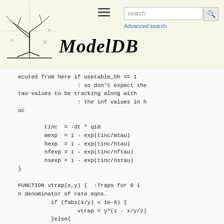ModelDB — Advanced search
( )                                        )
ecuted from here if usetable_hh == 1
                  : so don't expect the
tau values to be tracking along with
                  : the inf values in h
oc

        tinc  = -dt * q10
        mexp  = 1 - exp(tinc/mtau)
        hexp  = 1 - exp(tinc/htau)
        nfexp = 1 - exp(tinc/nftau)
        nsexp = 1 - exp(tinc/nstau)
}

FUNCTION vtrap(x,y) {  :Traps for 0 i
n denominator of rate eqns.
          if (fabs(x/y) < 1e-6) {
                  vtrap = y*(1 - x/y/2)
          }else{
                  vtrap = x/(exp(x/y) -
1)